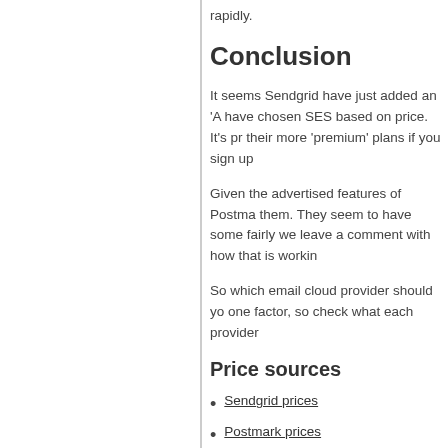rapidly.
Conclusion
It seems Sendgrid have just added an 'A have chosen SES based on price. It's pr their more 'premium' plans if you sign up
Given the advertised features of Postma them. They seem to have some fairly we leave a comment with how that is workin
So which email cloud provider should yo one factor, so check what each provider
Price sources
Sendgrid prices
Postmark prices
Amazon SES prices
Mailgun prices